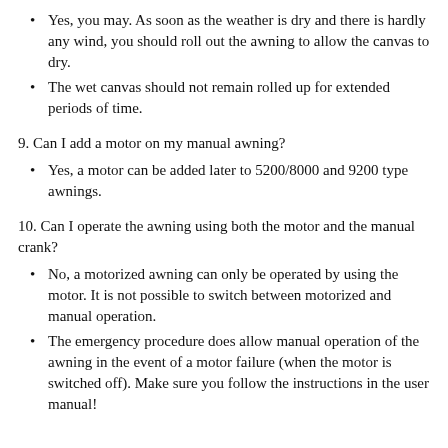Yes, you may. As soon as the weather is dry and there is hardly any wind, you should roll out the awning to allow the canvas to dry.
The wet canvas should not remain rolled up for extended periods of time.
9. Can I add a motor on my manual awning?
Yes, a motor can be added later to 5200/8000 and 9200 type awnings.
10. Can I operate the awning using both the motor and the manual crank?
No, a motorized awning can only be operated by using the motor. It is not possible to switch between motorized and manual operation.
The emergency procedure does allow manual operation of the awning in the event of a motor failure (when the motor is switched off). Make sure you follow the instructions in the user manual!